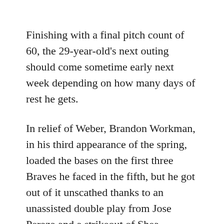Finishing with a final pitch count of 60, the 29-year-old's next outing should come sometime early next week depending on how many days of rest he gets.
In relief of Weber, Brandon Workman, in his third appearance of the spring, loaded the bases on the first three Braves he faced in the fifth, but he got out of it unscathed thanks to an unassisted double play from Jose Peraza and a strikeout of Shea Langeliers.
From there, Marcus Walden allowed Atlanta to score their first run of the night on one hit, one